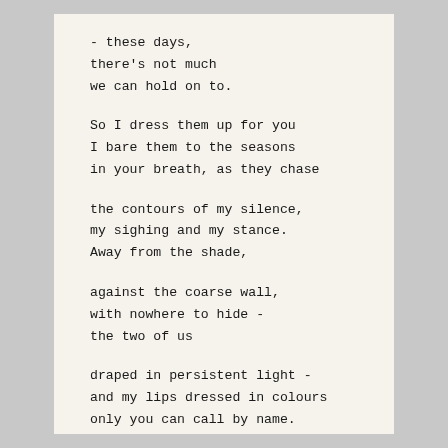- these days,
there's not much
we can hold on to.

So I dress them up for you
I bare them to the seasons
in your breath, as they chase

the contours of my silence,
my sighing and my stance.
Away from the shade,

against the coarse wall,
with nowhere to hide -
the two of us

draped in persistent light -
and my lips dressed in colours
only you can call by name.
44